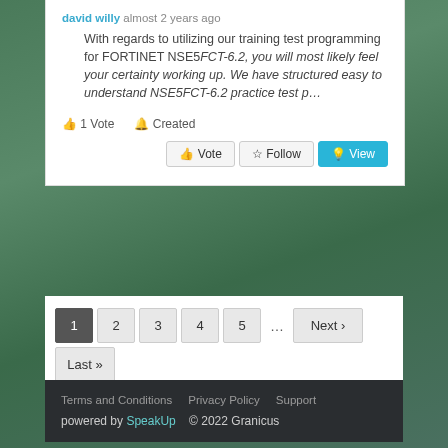david willy almost 2 years ago
With regards to utilizing our training test programming for FORTINET NSE5FCT-6.2, you will most likely feel your certainty working up. We have structured easy to understand NSE5FCT-6.2 practice test p…
1 Vote   Created   Vote   Follow   View
1  2  3  4  5  ...  Next ›  Last »
Terms and Conditions   Privacy Policy   Support   powered by SpeakUp   © 2022 Granicus